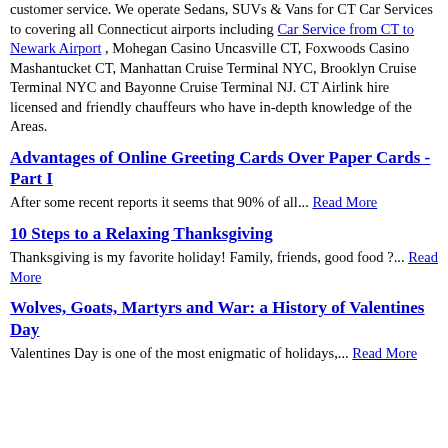customer service. We operate Sedans, SUVs & Vans for CT Car Services to covering all Connecticut airports including Car Service from CT to Newark Airport , Mohegan Casino Uncasville CT, Foxwoods Casino Mashantucket CT, Manhattan Cruise Terminal NYC, Brooklyn Cruise Terminal NYC and Bayonne Cruise Terminal NJ. CT Airlink hire licensed and friendly chauffeurs who have in-depth knowledge of the Areas.
Advantages of Online Greeting Cards Over Paper Cards - Part I
After some recent reports it seems that 90% of all... Read More
10 Steps to a Relaxing Thanksgiving
Thanksgiving is my favorite holiday! Family, friends, good food ?... Read More
Wolves, Goats, Martyrs and War: a History of Valentines Day
Valentines Day is one of the most enigmatic of holidays,... Read More